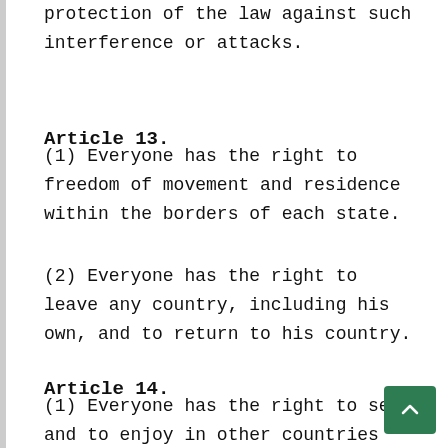protection of the law against such interference or attacks.
Article 13.
(1) Everyone has the right to freedom of movement and residence within the borders of each state.
(2) Everyone has the right to leave any country, including his own, and to return to his country.
Article 14.
(1) Everyone has the right to seek and to enjoy in other countries asylum from persecution.
(2) This right may not be invoked in the case of prosecutions genuinely arising from non-political crimes or from acts contrary to the